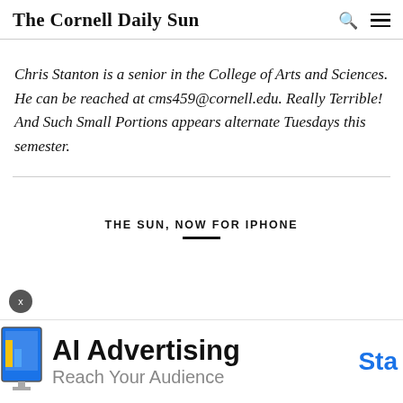The Cornell Daily Sun
Chris Stanton is a senior in the College of Arts and Sciences. He can be reached at cms459@cornell.edu. Really Terrible! And Such Small Portions appears alternate Tuesdays this semester.
THE SUN, NOW FOR IPHONE
[Figure (infographic): Advertisement banner: AI Advertising - Reach Your Audience, with a 'Sta' (Start) call to action in blue and a partial illustration of a monitor on the left.]